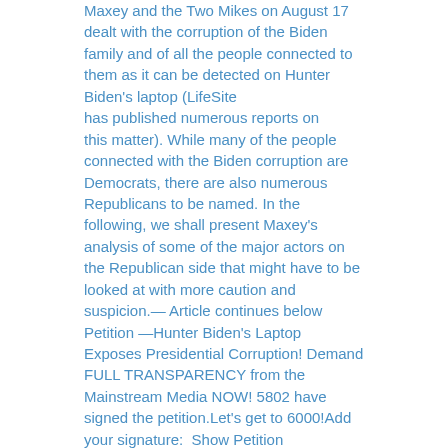Maxey and the Two Mikes on August 17 dealt with the corruption of the Biden family and of all the people connected to them as it can be detected on Hunter Biden's laptop (LifeSite has published numerous reports on this matter). While many of the people connected with the Biden corruption are Democrats, there are also numerous Republicans to be named. In the following, we shall present Maxey's analysis of some of the major actors on the Republican side that might have to be looked at with more caution and suspicion.— Article continues below Petition —Hunter Biden's Laptop Exposes Presidential Corruption! Demand FULL TRANSPARENCY from the Mainstream Media NOW! 5802 have signed the petition.Let's get to 6000!Add your signature:  Show Petition Text  Country...USACanadaAaland IslandsAfghanistanAlbaniaAlgeriaAmerican SamoaAndorraAngolaAnguillaAntarctica